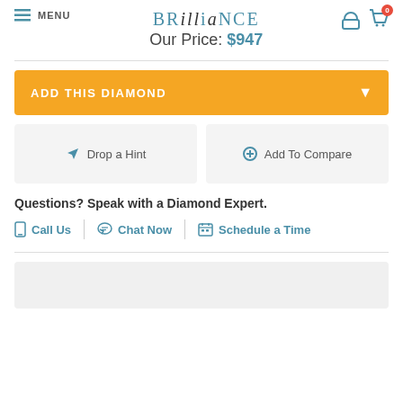MENU | BRILLIANCE | Our Price: $947
ADD THIS DIAMOND
Drop a Hint
Add To Compare
Questions? Speak with a Diamond Expert.
Call Us | Chat Now | Schedule a Time